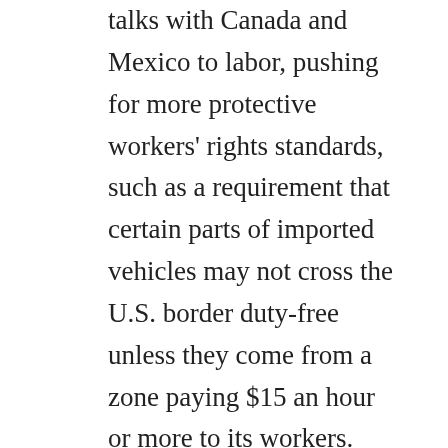talks with Canada and Mexico to labor, pushing for more protective workers' rights standards, such as a requirement that certain parts of imported vehicles may not cross the U.S. border duty-free unless they come from a zone paying $15 an hour or more to its workers. According to the Wall Street Journal, the proposal is intended to bring more jobs back to the US while simultaneously encouraging better standards abroad.  U.S. labor unions have long backed proposals for NAFTA to require more stringent labor standards, although representatives of Mexico's private sector have voiced strong opposition to...